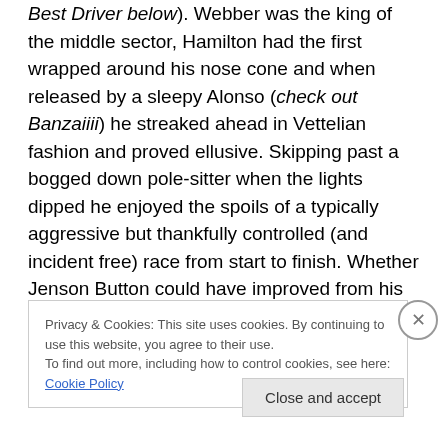Best Driver below). Webber was the king of the middle sector, Hamilton had the first wrapped around his nose cone and when released by a sleepy Alonso (check out Banzaiiii) he streaked ahead in Vettelian fashion and proved ellusive. Skipping past a bogged down pole-sitter when the lights dipped he enjoyed the spoils of a typically aggressive but thankfully controlled (and incident free) race from start to finish. Whether Jenson Button could have improved from his poor start is irrelevant due to a hydraulic failure, but what the team proved today was that they can now beat Red Bull on merit. In China Vettel's
Privacy & Cookies: This site uses cookies. By continuing to use this website, you agree to their use.
To find out more, including how to control cookies, see here: Cookie Policy